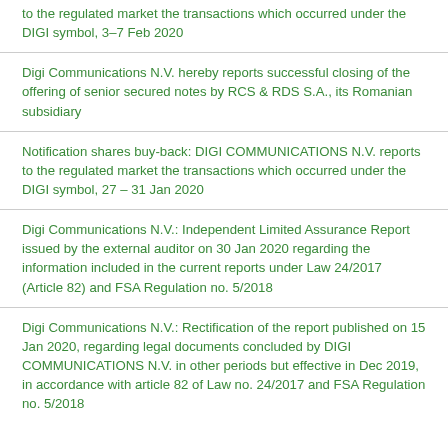to the regulated market the transactions which occurred under the DIGI symbol, 3–7 Feb 2020
Digi Communications N.V. hereby reports successful closing of the offering of senior secured notes by RCS & RDS S.A., its Romanian subsidiary
Notification shares buy-back: DIGI COMMUNICATIONS N.V. reports to the regulated market the transactions which occurred under the DIGI symbol, 27 – 31 Jan 2020
Digi Communications N.V.: Independent Limited Assurance Report issued by the external auditor on 30 Jan 2020 regarding the information included in the current reports under Law 24/2017 (Article 82) and FSA Regulation no. 5/2018
Digi Communications N.V.: Rectification of the report published on 15 Jan 2020, regarding legal documents concluded by DIGI COMMUNICATIONS N.V. in other periods but effective in Dec 2019, in accordance with article 82 of Law no. 24/2017 and FSA Regulation no. 5/2018